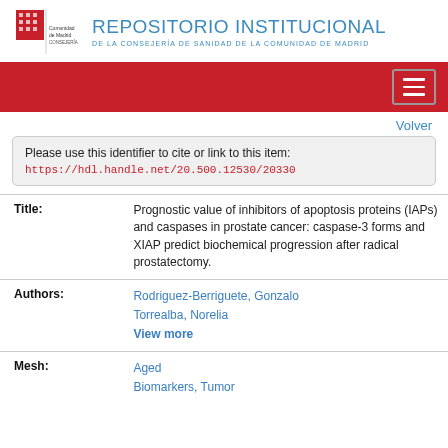[Figure (logo): Comunidad de Madrid logo with red and white emblem and text]
REPOSITORIO INSTITUCIONAL
DE LA CONSEJERÍA DE SANIDAD DE LA COMUNIDAD DE MADRID
Volver
Please use this identifier to cite or link to this item:
https://hdl.handle.net/20.500.12530/20330
| Field | Value |
| --- | --- |
| Title: | Prognostic value of inhibitors of apoptosis proteins (IAPs) and caspases in prostate cancer: caspase-3 forms and XIAP predict biochemical progression after radical prostatectomy. |
| Authors: | Rodriguez-Berriguete, Gonzalo
Torrealba, Norelia
View more |
| Mesh: | Aged
Biomarkers, Tumor |